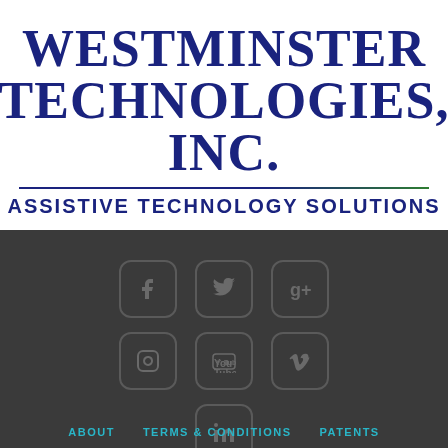Westminster Technologies, Inc.
Assistive Technology Solutions
[Figure (logo): Seven social media icon boxes arranged in rows: Facebook, Twitter, Google+, Instagram, YouTube, Vimeo, LinkedIn]
ABOUT   TERMS & CONDITIONS   PATENTS